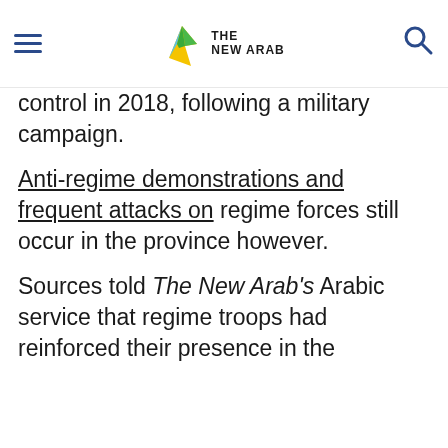The New Arab — navigation header with hamburger menu and search icon
control in 2018, following a military campaign.
Anti-regime demonstrations and frequent attacks on regime forces still occur in the province however.
Sources told The New Arab's Arabic service that regime troops had reinforced their presence in the
We use our own third-party cookies to study and analyze the use of the website and to improve our services and functionalities.

By continuing to browse our site, you agree to the use of cookies and our Privacy Policy.
Accept